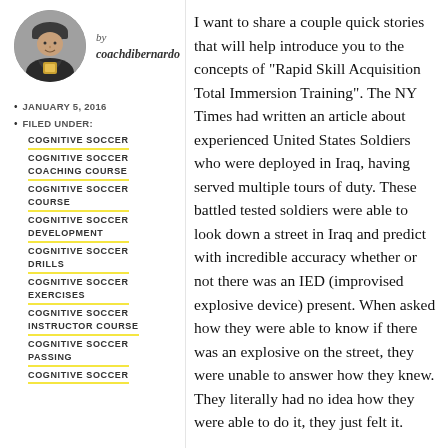[Figure (photo): Circular profile photo of coach in winter jacket holding a trophy/award, wearing a beanie hat]
by coachdibernardo
JANUARY 5, 2016
FILED UNDER:
COGNITIVE SOCCER
COGNITIVE SOCCER COACHING COURSE
COGNITIVE SOCCER COURSE
COGNITIVE SOCCER DEVELOPMENT
COGNITIVE SOCCER DRILLS
COGNITIVE SOCCER EXERCISES
COGNITIVE SOCCER INSTRUCTOR COURSE
COGNITIVE SOCCER PASSING
COGNITIVE SOCCER
I want to share a couple quick stories that will help introduce you to the concepts of "Rapid Skill Acquisition Total Immersion Training". The NY Times had written an article about experienced United States Soldiers who were deployed in Iraq, having served multiple tours of duty. These battled tested soldiers were able to look down a street in Iraq and predict with incredible accuracy whether or not there was an IED (improvised explosive device) present. When asked how they were able to know if there was an explosive on the street, they were unable to answer how they knew. They literally had no idea how they were able to do it, they just felt it.